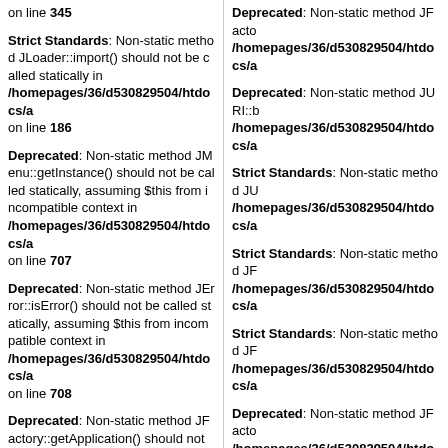on line 345
Strict Standards: Non-static method JLoader::import() should not be called statically in /homepages/36/d530829504/htdocs/a on line 186
Deprecated: Non-static method JMenu::getInstance() should not be called statically, assuming $this from incompatible context in /homepages/36/d530829504/htdocs/a on line 707
Deprecated: Non-static method JError::isError() should not be called statically, assuming $this from incompatible context in /homepages/36/d530829504/htdocs/a on line 708
Deprecated: Non-static method JFactory::getApplication() should not be called statically, assuming $this from incompatible context in /homepages/36/d530829504/htdocs/a on line 401
Deprecated: Non-static method JFactory should not be called in /homepages/36/d530829504/htdocs/a
Deprecated: Non-static method JURI::b /homepages/36/d530829504/htdocs/a
Strict Standards: Non-static method JU /homepages/36/d530829504/htdocs/a
Strict Standards: Non-static method JF /homepages/36/d530829504/htdocs/a
Strict Standards: Non-static method JF /homepages/36/d530829504/htdocs/a
Deprecated: Non-static method JFactory /homepages/36/d530829504/htdocs/a
Strict Standards: Non-static method JL /homepages/36/d530829504/htdocs/a
Deprecated: Non-static method JRoute /homepages/36/d530829504/htdocs/a
Deprecated: Non-static method JError:: /homepages/36/d530829504/htdocs/a
Deprecated: Non-static method JSite:: /homepages/36/d530829504/htdocs/a